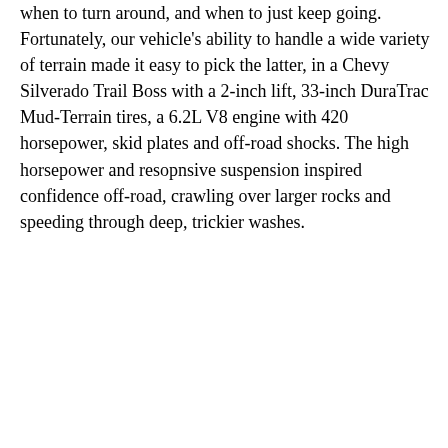when to turn around, and when to just keep going. Fortunately, our vehicle's ability to handle a wide variety of terrain made it easy to pick the latter, in a Chevy Silverado Trail Boss with a 2-inch lift, 33-inch DuraTrac Mud-Terrain tires, a 6.2L V8 engine with 420 horsepower, skid plates and off-road shocks. The high horsepower and resopnsive suspension inspired confidence off-road, crawling over larger rocks and speeding through deep, trickier washes.